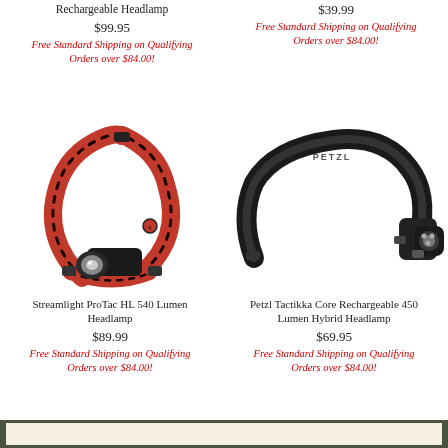Rechargeable Headlamp
$99.95
Free Standard Shipping on Qualifying Orders over $84.00!
$39.99
Free Standard Shipping on Qualifying Orders over $84.00!
[Figure (photo): Streamlight ProTac HL 540 Lumen Headlamp with red/black strap]
[Figure (photo): Petzl Tactikka Core Rechargeable 450 Lumen Hybrid Headlamp with black strap]
Streamlight ProTac HL 540 Lumen Headlamp
$89.99
Free Standard Shipping on Qualifying Orders over $84.00!
Petzl Tactikka Core Rechargeable 450 Lumen Hybrid Headlamp
$69.95
Free Standard Shipping on Qualifying Orders over $84.00!